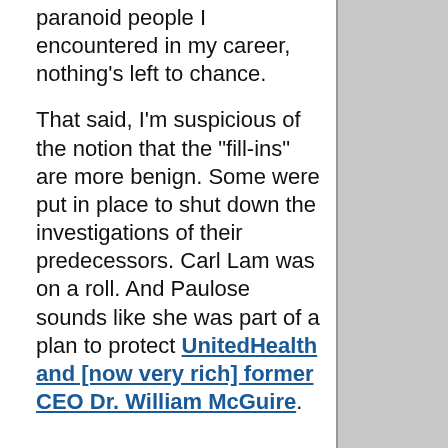paranoid people I encountered in my career, nothing's left to chance.
That said, I'm suspicious of the notion that the "fill-ins" are more benign. Some were put in place to shut down the investigations of their predecessors. Carl Lam was on a roll. And Paulose sounds like she was part of a plan to protect UnitedHealth and [now very rich] former CEO Dr. William McGuire.